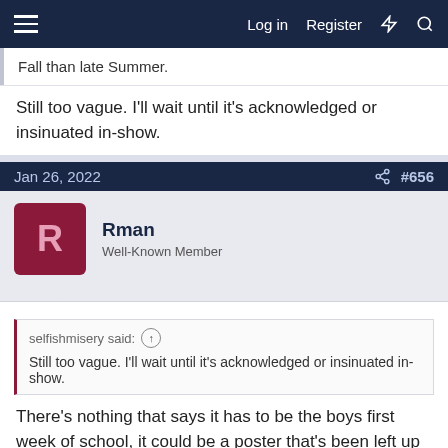Log in  Register
Fall than late Summer.
Still too vague. I'll wait until it's acknowledged or insinuated in-show.
Jan 26, 2022  #656
Rman
Well-Known Member
selfishmisery said:
Still too vague. I'll wait until it's acknowledged or insinuated in-show.
There's nothing that says it has to be the boys first week of school, it could be a poster that's been left up a couple weeks. I just don't feel like it's still August at this point. The show will probably remain vague though until at some point a ridiculous time jump will need to be made. At least Lana's posters had 2021 on them...